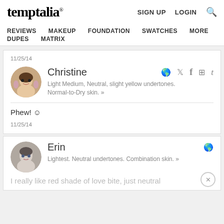temptalia® | REVIEWS  MAKEUP  FOUNDATION  SWATCHES  MORE  DUPES  MATRIX | SIGN UP  LOGIN  🔍
11/25/14
Christine
Light Medium, Neutral, slight yellow undertones. Normal-to-Dry skin. »
Phew! ☺
11/25/14
Erin
Lightest. Neutral undertones. Combination skin. »
I really like red shade of love bite, just neutral